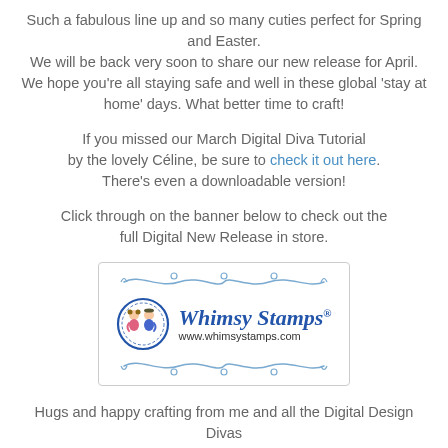Such a fabulous line up and so many cuties perfect for Spring and Easter. We will be back very soon to share our new release for April. We hope you're all staying safe and well in these global 'stay at home' days. What better time to craft!
If you missed our March Digital Diva Tutorial by the lovely Céline, be sure to check it out here. There's even a downloadable version!
Click through on the banner below to check out the full Digital New Release in store.
[Figure (logo): Whimsy Stamps logo with decorative swirls, circular emblem with two characters, brand name 'Whimsy Stamps' and URL www.whimsystamps.com]
Hugs and happy crafting from me and all the Digital Design Divas